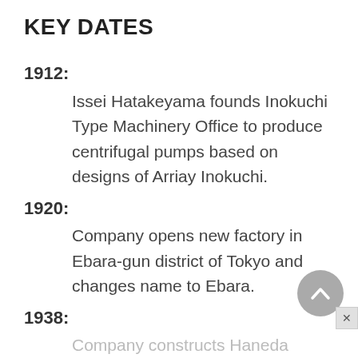KEY DATES
1912:
Issei Hatakeyama founds Inokuchi Type Machinery Office to produce centrifugal pumps based on designs of Arriay Inokuchi.
1920:
Company opens new factory in Ebara-gun district of Tokyo and changes name to Ebara.
1938:
Company constructs Haneda